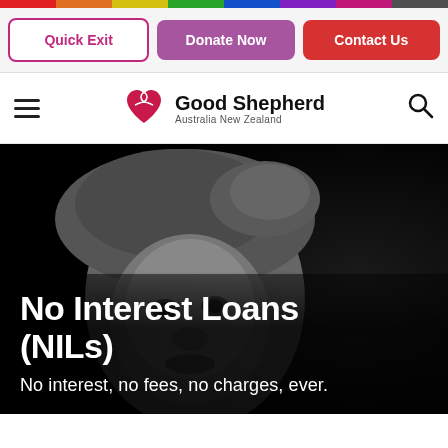[Figure (screenshot): Colored flag/pride bar at top of page with red, green, purple, and other colored segments]
Quick Exit | Donate Now | Contact Us
[Figure (logo): Good Shepherd Australia New Zealand logo with heart/ribbon icon]
No Interest Loans (NILs)
No interest, no fees, no charges, ever.